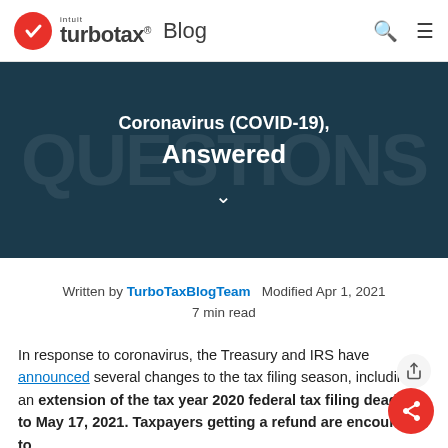intuit turbotax Blog
Coronavirus (COVID-19), Answered
Written by TurboTaxBlogTeam   Modified Apr 1, 2021
7 min read
In response to coronavirus, the Treasury and IRS have announced several changes to the tax filing season, including an extension of the tax year 2020 federal tax filing deadline to May 17, 2021. Taxpayers getting a refund are encouraged to